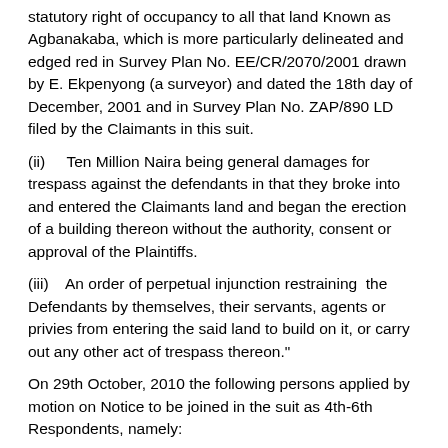statutory right of occupancy to all that land Known as Agbanakaba, which is more particularly delineated and edged red in Survey Plan No. EE/CR/2070/2001 drawn by E. Ekpenyong (a surveyor) and dated the 18th day of December, 2001 and in Survey Plan No. ZAP/890 LD filed by the Claimants in this suit.
(ii)    Ten Million Naira being general damages for trespass against the defendants in that they broke into and entered the Claimants land and began the erection of a building thereon without the authority, consent or approval of the Plaintiffs.
(iii)    An order of perpetual injunction restraining  the Defendants by themselves, their servants, agents or privies from entering the said land to build on it, or carry out any other act of trespass thereon."
On 29th October, 2010 the following persons applied by motion on Notice to be joined in the suit as 4th-6th Respondents, namely:
"4.    CHIEF PATRICK A.O. EDEM   -   PARTIES SOUGHT TO BE